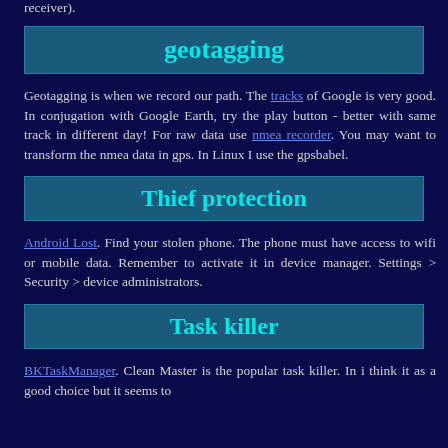receiver).
geotagging
Geotagging is when we record our path. The tracks of Google is very good. In conjugation with Google Earth, try the play button - better with same track in different day! For raw data use nmea recorder. You may want to transform the nmea data in gps. In Linux I use the gpsbabel.
Thief protection
Android Lost. Find your stolen phone. The phone must have access to wifi or mobile data. Remember to activate it in device manager. Settings > Security > device administrators.
Task killer
BKTaskManager. Clean Master is the popular task killer. In i think it as a good choice but it seems to